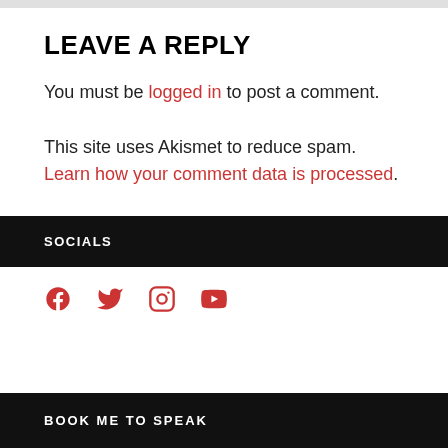LEAVE A REPLY
You must be logged in to post a comment.
This site uses Akismet to reduce spam. Learn how your comment data is processed.
SOCIALS
[Figure (other): Social media icons: Facebook, Twitter, Instagram, YouTube in red]
BOOK ME TO SPEAK